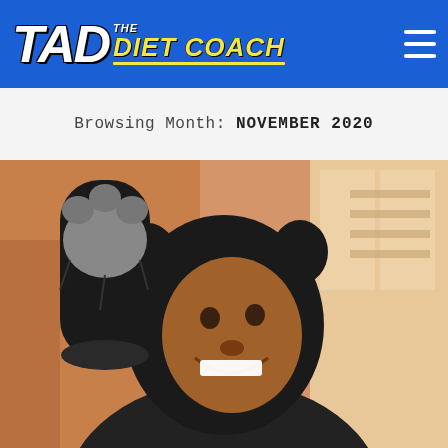TAD The Diet Coach
Browsing Month: NOVEMBER 2020
[Figure (photo): A smiling man wearing a black bear/animal costume hood and holding up a black paw glove with a grey paw pad. He is wearing a teal beaded necklace and a dark t-shirt. The background shows a warm-toned room.]